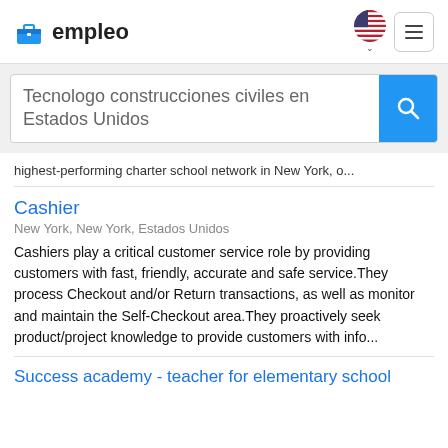empleo
Tecnologo construcciones civiles en Estados Unidos
highest-performing charter school network in New York, o...
Cashier
New York, New York, Estados Unidos
Cashiers play a critical customer service role by providing customers with fast, friendly, accurate and safe service.They process Checkout and/or Return transactions, as well as monitor and maintain the Self-Checkout area.They proactively seek product/project knowledge to provide customers with info...
Success academy - teacher for elementary school